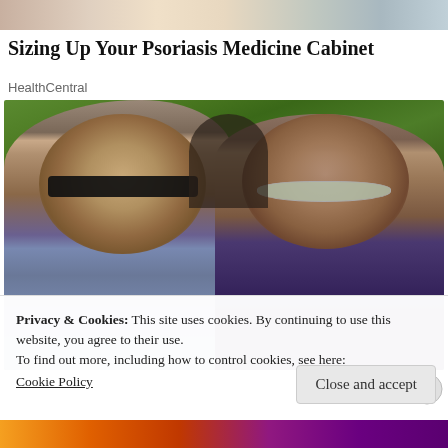[Figure (photo): Partial top image strip visible at top of page]
Sizing Up Your Psoriasis Medicine Cabinet
HealthCentral
[Figure (photo): Photo of two people (a man with dark sunglasses on the left wearing a blue checked shirt, and a woman with heart-shaped sunglasses on the right) in an outdoor setting with green trees and rooftops in the background]
Privacy & Cookies: This site uses cookies. By continuing to use this website, you agree to their use.
To find out more, including how to control cookies, see here:
Cookie Policy
Close and accept